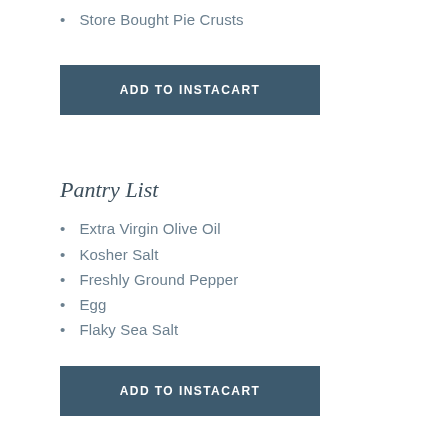Store Bought Pie Crusts
ADD TO INSTACART
Pantry List
Extra Virgin Olive Oil
Kosher Salt
Freshly Ground Pepper
Egg
Flaky Sea Salt
ADD TO INSTACART
Instructions
… (partial text visible at bottom)